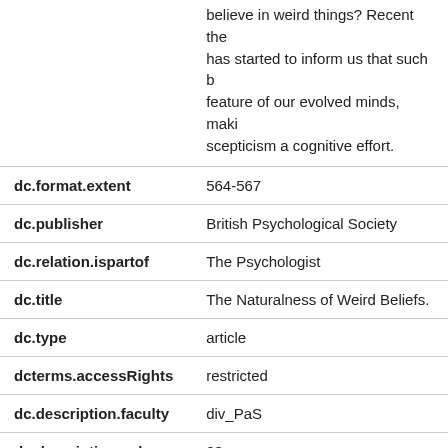| Field | Value |
| --- | --- |
|  | believe in weird things? Recent the has started to inform us that such b feature of our evolved minds, maki scepticism a cognitive effort. |
| dc.format.extent | 564-567 |
| dc.publisher | British Psychological Society |
| dc.relation.ispartof | The Psychologist |
| dc.title | The Naturalness of Weird Beliefs. |
| dc.type | article |
| dcterms.accessRights | restricted |
| dc.description.faculty | div_PaS |
| dc.description.volume | 23 |
| dc.description.ispublished | pub |
| dc.description.eprintid | 1755 |